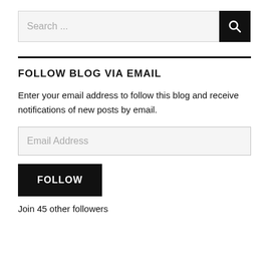[Figure (screenshot): Search bar with text 'Search ...' and black search button with magnifying glass icon]
FOLLOW BLOG VIA EMAIL
Enter your email address to follow this blog and receive notifications of new posts by email.
[Figure (screenshot): Email Address input field with placeholder text 'Email Address']
[Figure (screenshot): Black FOLLOW button]
Join 45 other followers